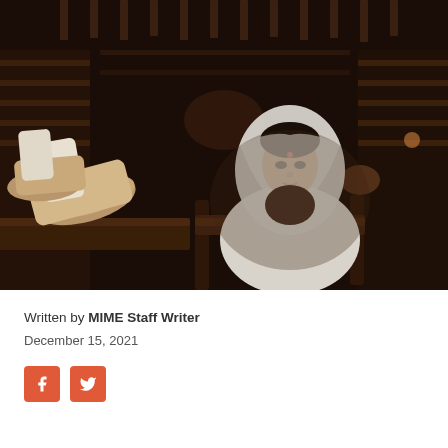[Figure (photo): A woman in traditional Indian white dress with dupatta over her head, wearing a bindi, seated at a wooden desk in a dimly lit ornate library or hall with shelves in the background. Feet with shoes propped up on the desk are visible in the foreground.]
Written by MIME Staff Writer
December 15, 2021
[Figure (other): Social media share buttons: Facebook (f) and Twitter (bird icon), both in orange-red color]